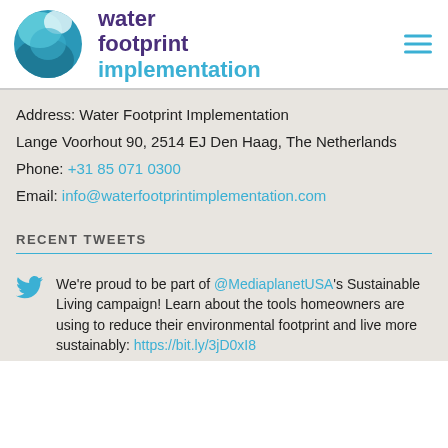[Figure (logo): Water Footprint Implementation logo: circular water droplet icon in teal/blue tones with white highlights, next to brand name in two lines: 'water footprint' in dark purple and 'implementation' in light blue]
Address: Water Footprint Implementation
Lange Voorhout 90, 2514 EJ Den Haag, The Netherlands
Phone: +31 85 071 0300
Email: info@waterfootprintimplementation.com
RECENT TWEETS
We're proud to be part of @MediaplanetUSA's Sustainable Living campaign! Learn about the tools homeowners are using to reduce their environmental footprint and live more sustainably: https://bit.ly/3jD0xI8